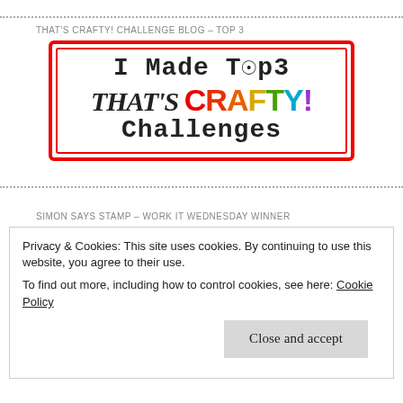THAT'S CRAFTY! CHALLENGE BLOG – TOP 3
[Figure (logo): Badge reading 'I Made Top 3 THAT'S CRAFTY! Challenges' with colorful lettering and red border]
SIMON SAYS STAMP – WORK IT WEDNESDAY WINNER
Privacy & Cookies: This site uses cookies. By continuing to use this website, you agree to their use.
To find out more, including how to control cookies, see here: Cookie Policy
Close and accept